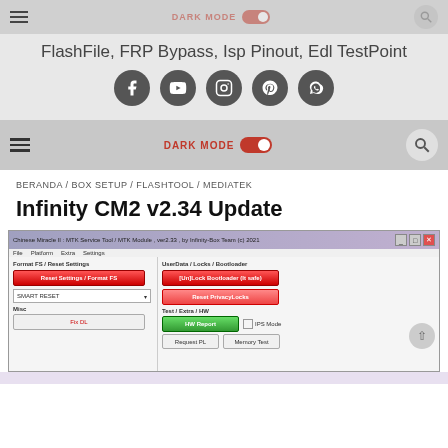FlashFile, FRP Bypass, Isp Pinout, Edl TestPoint
DARK MODE
BERANDA / BOX SETUP / FLASHTOOL / MEDIATEK
Infinity CM2 v2.34 Update
[Figure (screenshot): Screenshot of Chinese Miracle II MTK Service Tool / MTK Module v2.33 by Infinity-Box Team showing Platform/Main, Flash, Security, Service, Settings tabs with buttons: Reset Settings / Format FS, SMART RESET dropdown, Fix DL, UnLock Bootloader (It safe), Reset PrivacyLocks, HW Report, IPS Mode checkbox, Request PL, Memory Test]